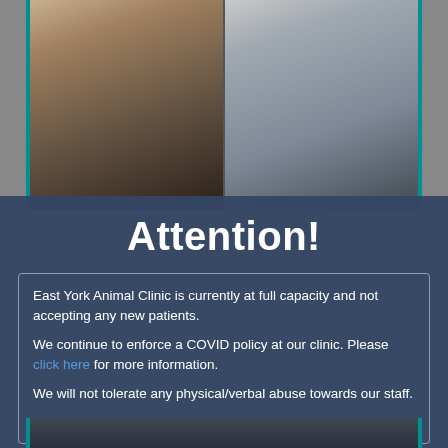[Figure (photo): Two cats side by side — left cat being held by human hands, right cat a Sphynx or similar breed, both facing camera]
Attention!
East York Animal Clinic is currently at full capacity and not accepting any new patients.

We continue to enforce a COVID policy at our clinic. Please click here for more information.

We will not tolerate any physical/verbal abuse towards our staff.

Thank you for your cooperation and understanding.